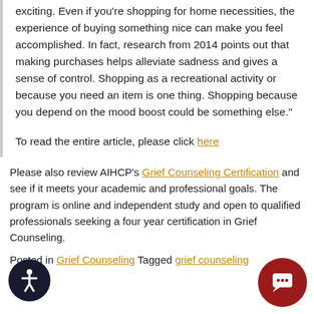exciting. Even if you're shopping for home necessities, the experience of buying something nice can make you feel accomplished. In fact, research from 2014 points out that making purchases helps alleviate sadness and gives a sense of control. Shopping as a recreational activity or because you need an item is one thing. Shopping because you depend on the mood boost could be something else."
To read the entire article, please click here
Please also review AIHCP's Grief Counseling Certification and see if it meets your academic and professional goals. The program is online and independent study and open to qualified professionals seeking a four year certification in Grief Counseling.
Posted in Grief Counseling Tagged grief counseling